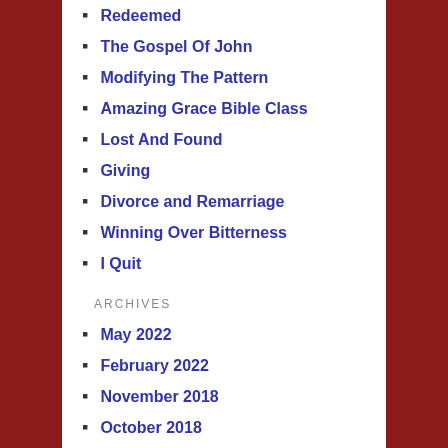Redeemed
The Gospel Of John
Modifying The Pattern
Amazing Grace Bible Class
Lost And Found
Giving
Divorce and Remarriage
Winning Over Bitterness
I Quit
ARCHIVES
May 2022
February 2022
November 2018
October 2018
June 2018
February 2018
April 2017
June 2016
May 2016
December 2015